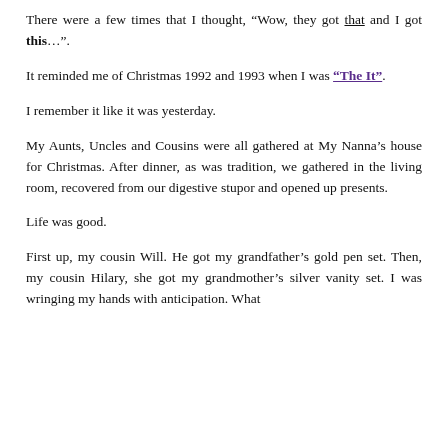There were a few times that I thought, “Wow, they got that and I got this…”.
It reminded me of Christmas 1992 and 1993 when I was “The It”.
I remember it like it was yesterday.
My Aunts, Uncles and Cousins were all gathered at My Nanna’s house for Christmas. After dinner, as was tradition, we gathered in the living room, recovered from our digestive stupor and opened up presents.
Life was good.
First up, my cousin Will. He got my grandfather’s gold pen set. Then, my cousin Hilary, she got my grandmother’s silver vanity set. I was wringing my hands with anticipation. What